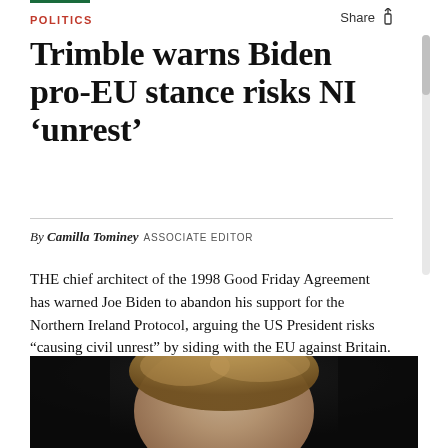POLITICS
Trimble warns Biden pro-EU stance risks NI ‘unrest’
By Camilla Tominey  ASSOCIATE EDITOR
THE chief architect of the 1998 Good Friday Agreement has warned Joe Biden to abandon his support for the Northern Ireland Protocol, arguing the US President risks “causing civil unrest” by siding with the EU against Britain.
[Figure (photo): Close-up photograph of a person with light brown/blonde hair, partially visible face, against a dark background]